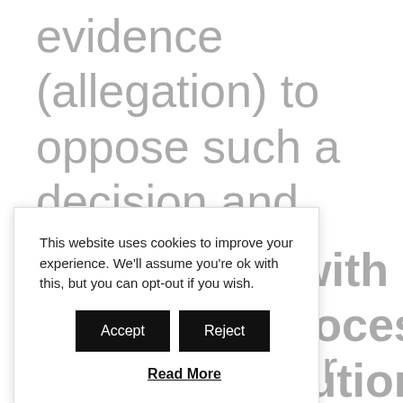evidence (allegation) to oppose such a decision and prevent them from finally canceling your nationality.
In case you do not issue any
[Figure (screenshot): Cookie consent popup overlay with text: 'This website uses cookies to improve your experience. We'll assume you're ok with this, but you can opt-out if you wish.' with Accept and Reject buttons and a Read More link.]
with process lution ration r birth